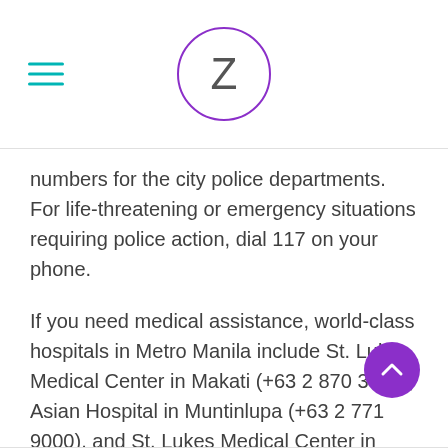Z
numbers for the city police departments. For life-threatening or emergency situations requiring police action, dial 117 on your phone.
If you need medical assistance, world-class hospitals in Metro Manila include St. Lukes Medical Center in Makati (+63 2 870 3000), Asian Hospital in Muntinlupa (+63 2 771 9000), and St. Lukes Medical Center in Quezon City (+63 2 723 0101).